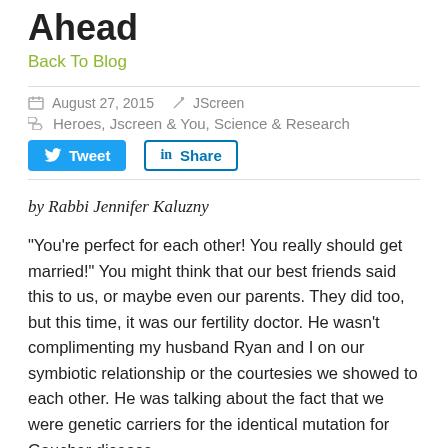Ahead
Back To Blog
August 27, 2015   JScreen
Heroes, Jscreen & You, Science & Research
Tweet   Share
by Rabbi Jennifer Kaluzny
“You’re perfect for each other! You really should get married!” You might think that our best friends said this to us, or maybe even our parents. They did too, but this time, it was our fertility doctor. He wasn’t complimenting my husband Ryan and I on our symbiotic relationship or the courtesies we showed to each other. He was talking about the fact that we were genetic carriers for the identical mutation for Gaucher disease.
Gaucher is a disease commonly carried by Ashkenazi